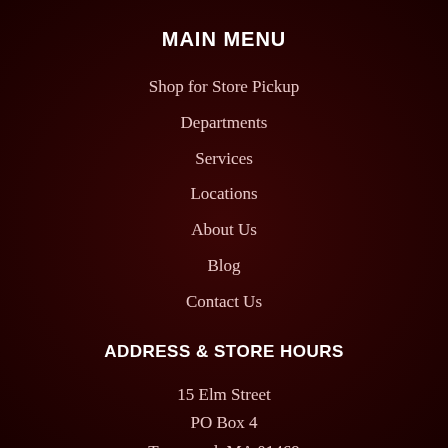MAIN MENU
Shop for Store Pickup
Departments
Services
Locations
About Us
Blog
Contact Us
ADDRESS & STORE HOURS
15 Elm Street
PO Box 4
Townsend, MA 01469
978-597-2652